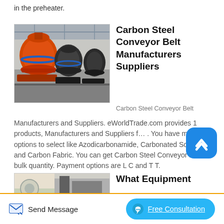in the preheater.
[Figure (photo): Industrial orange and dark grey grinding/milling machines in a factory setting]
Carbon Steel Conveyor Belt Manufacturers Suppliers
Carbon Steel Conveyor Belt Manufacturers and Suppliers. eWorldTrade.com provides 1 products, Manufacturers and Suppliers for . You have multiple options to select like Azodicarbonamide, Carbonated Soft Drink and Carbon Fabric. You can get Carbon Steel Conveyor Belt in bulk quantity. Payment options are L C and T T.
[Figure (photo): Industrial equipment photo, partially visible at bottom of page]
What Equipment
Send Message
Free Consultation